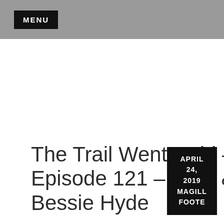MENU
The Trail Went Cold – Episode 121 – Glen & Bessie Hyde
APRIL 24, 2019 MAGILL FOOTE